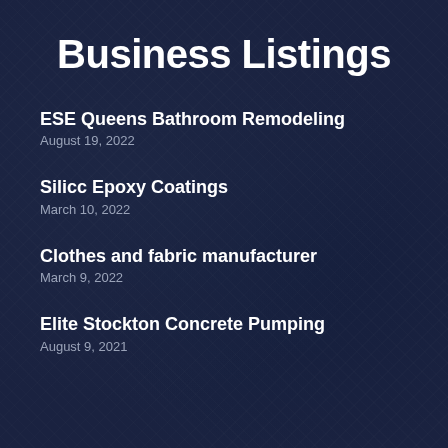Business Listings
ESE Queens Bathroom Remodeling
August 19, 2022
Silicc Epoxy Coatings
March 10, 2022
Clothes and fabric manufacturer
March 9, 2022
Elite Stockton Concrete Pumping
August 9, 2021